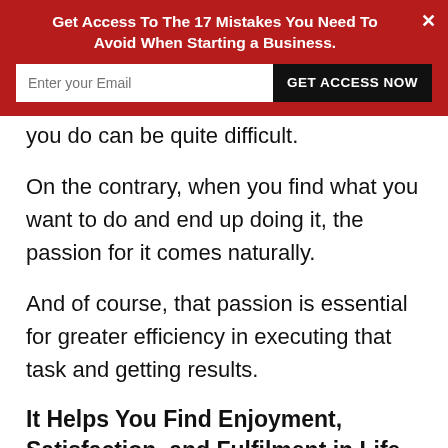[Figure (screenshot): Red banner popup overlay with title 'Get Access To The 17 Mistakes You Need To Avoid When Starting a Business.', an email input field, a 'GET ACCESS NOW' button, and a close X button.]
you do can be quite difficult.
On the contrary, when you find what you want to do and end up doing it, the passion for it comes naturally.
And of course, that passion is essential for greater efficiency in executing that task and getting results.
It Helps You Find Enjoyment, Satisfaction, and Fulfilment in Life